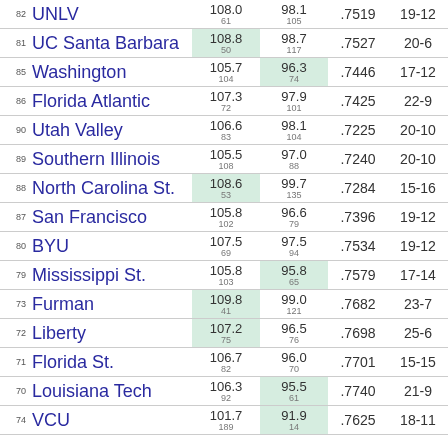| Rank | Team | Off | Def | Pct | W-L |
| --- | --- | --- | --- | --- | --- |
| 82 | UNLV | 108.0
61 | 98.1
105 | .7519 | 19-12 |
| 81 | UC Santa Barbara | 108.8
50 | 98.7
117 | .7527 | 20-6 |
| 85 | Washington | 105.7
104 | 96.3
74 | .7446 | 17-12 |
| 86 | Florida Atlantic | 107.3
72 | 97.9
101 | .7425 | 22-9 |
| 90 | Utah Valley | 106.6
83 | 98.1
104 | .7225 | 20-10 |
| 89 | Southern Illinois | 105.5
108 | 97.0
88 | .7240 | 20-10 |
| 88 | North Carolina St. | 108.6
53 | 99.7
135 | .7284 | 15-16 |
| 87 | San Francisco | 105.8
102 | 96.6
79 | .7396 | 19-12 |
| 80 | BYU | 107.5
69 | 97.5
94 | .7534 | 19-12 |
| 79 | Mississippi St. | 105.8
103 | 95.8
65 | .7579 | 17-14 |
| 73 | Furman | 109.8
41 | 99.0
121 | .7682 | 23-7 |
| 72 | Liberty | 107.2
75 | 96.5
76 | .7698 | 25-6 |
| 71 | Florida St. | 106.7
82 | 96.0
70 | .7701 | 15-15 |
| 70 | Louisiana Tech | 106.3
92 | 95.5
61 | .7740 | 21-9 |
| 74 | VCU | 101.7
189 | 91.9
14 | .7625 | 18-11 |